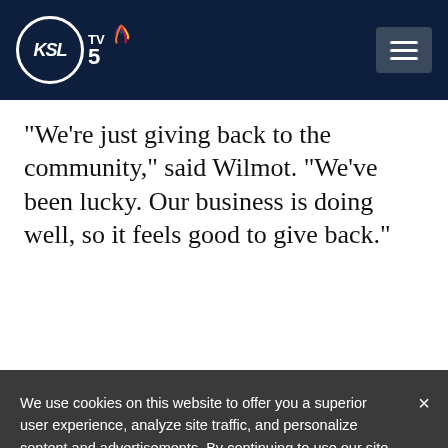KSL TV 5
“We’re just giving back to the community,” said Wilmot. “We’ve been lucky. Our business is doing well, so it feels good to give back.”
We use cookies on this website to offer you a superior user experience, analyze site traffic, and personalize content and advertisements. By continuing to use our site, you consent to our use of cookies. Please visit our Privacy Policy for more information.
Accept Cookies